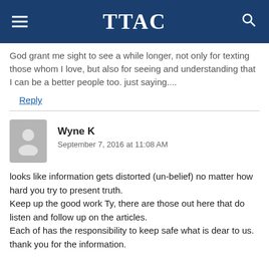TTAC
God grant me sight to see a while longer, not only for texting those whom I love, but also for seeing and understanding that I can be a better people too. just saying....
Reply
Wyne K
September 7, 2016 at 11:08 AM
looks like information gets distorted (un-belief) no matter how hard you try to present truth.
Keep up the good work Ty, there are those out here that do listen and follow up on the articles.
Each of has the responsibility to keep safe what is dear to us.
thank you for the information.